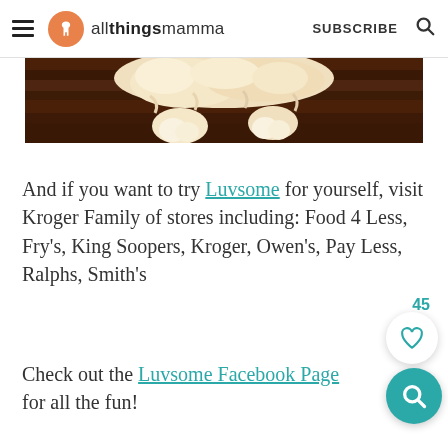allthingsmamma — SUBSCRIBE
[Figure (photo): Partial photo of a fluffy dog (likely a goldendoodle or similar) lying on a dark hardwood floor, showing only its back/rear paws and fluffy fur.]
And if you want to try Luvsome for yourself, visit Kroger Family of stores including: Food 4 Less, Fry's, King Soopers, Kroger, Owen's, Pay Less, Ralphs, Smith's
Check out the Luvsome Facebook Page for all the fun!